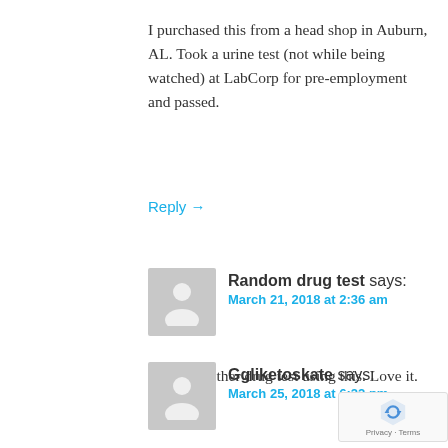I purchased this from a head shop in Auburn, AL. Took a urine test (not while being watched) at LabCorp for pre-employment and passed.
Reply →
Random drug test says:
March 21, 2018 at 2:36 am
Passed another drug test using this. Love it.
Reply →
Ggliketoskate says:
March 25, 2018 at 6:22 pm